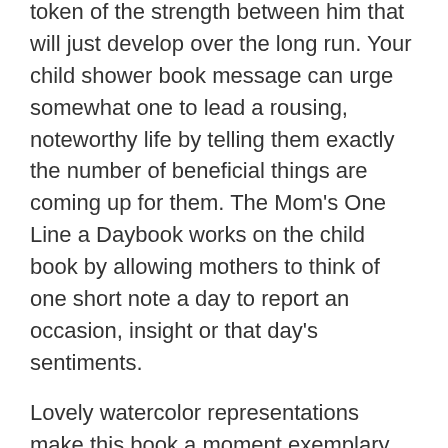token of the strength between him that will just develop over the long run. Your child shower book message can urge somewhat one to lead a rousing, noteworthy life by telling them exactly the number of beneficial things are coming up for them. The Mom's One Line a Daybook works on the child book by allowing mothers to think of one short note a day to report an occasion, insight or that day's sentiments.
Lovely watercolor representations make this book a moment exemplary. Track with as a wide range of child creatures are wrapped up for a tranquil night's rest. This exemplary intuitive child book is loads of fun, with multi-tangible cooperations, including smelling blossoms, feeling daddy's face, plating surprise, and contacting the delicate rabbit. Excellent and basic representations fill this great book about creatures and creepy crawlies in your lawn. The story is told according to the caterpillar's viewpoint, gazing toward the enormous inquisitive youngster looking down. Family companions can likewise china magic water book manufacturers leave moving directives for the new child and unexperienced parents. Utilizing the child shower book as a